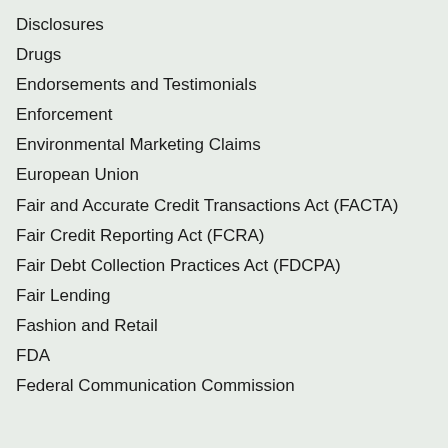Disclosures
Drugs
Endorsements and Testimonials
Enforcement
Environmental Marketing Claims
European Union
Fair and Accurate Credit Transactions Act (FACTA)
Fair Credit Reporting Act (FCRA)
Fair Debt Collection Practices Act (FDCPA)
Fair Lending
Fashion and Retail
FDA
Federal Communication Commission